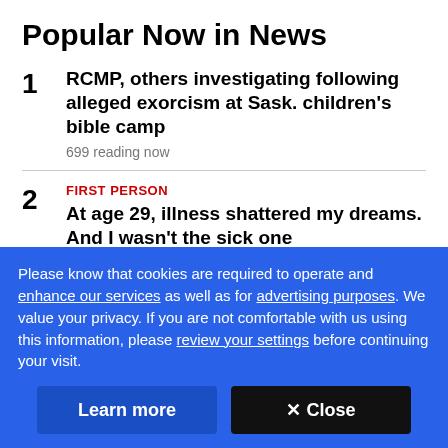Popular Now in News
RCMP, others investigating following alleged exorcism at Sask. children's bible camp
699 reading now
FIRST PERSON
At age 29, illness shattered my dreams. And I wasn't the sick one
328 reading now
Please know that cookies are required to operate and enhance our services as well as for advertising purposes. We value your privacy. If you are not comfortable with us using this information, please review your settings before continuing your visit.